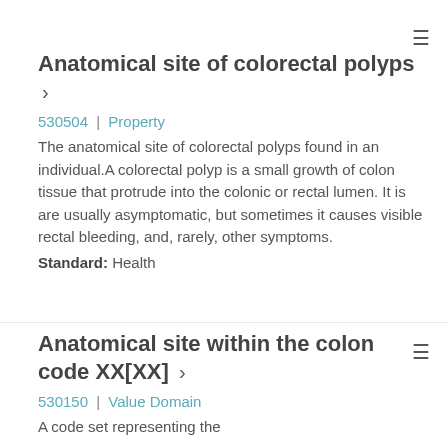Anatomical site of colorectal polyps
530504 | Property
The anatomical site of colorectal polyps found in an individual.A colorectal polyp is a small growth of colon tissue that protrude into the colonic or rectal lumen. It is are usually asymptomatic, but sometimes it causes visible rectal bleeding, and, rarely, other symptoms.
Standard: Health
Anatomical site within the colon code XX[XX]
530150 | Value Domain
A code set representing the